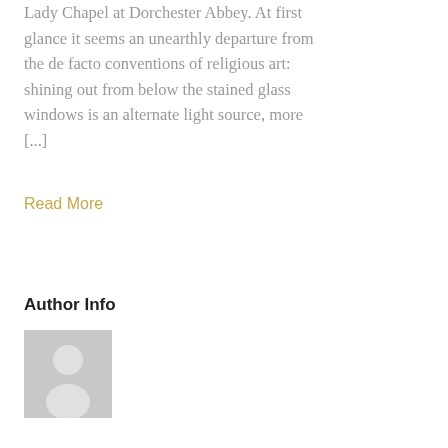Lady Chapel at Dorchester Abbey. At first glance it seems an unearthly departure from the de facto conventions of religious art: shining out from below the stained glass windows is an alternate light source, more [...]
Read More
Author Info
[Figure (photo): Generic user avatar — grey silhouette of a person on a light grey background]